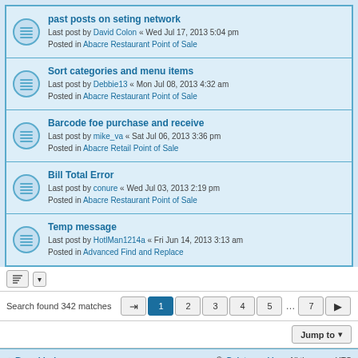past posts on seting network
Last post by David Colon « Wed Jul 17, 2013 5:04 pm
Posted in Abacre Restaurant Point of Sale
Sort categories and menu items
Last post by Debbie13 « Mon Jul 08, 2013 4:32 am
Posted in Abacre Restaurant Point of Sale
Barcode foe purchase and receive
Last post by mike_va « Sat Jul 06, 2013 3:36 pm
Posted in Abacre Retail Point of Sale
Bill Total Error
Last post by conure « Wed Jul 03, 2013 2:19 pm
Posted in Abacre Restaurant Point of Sale
Temp message
Last post by HotlMan1214a « Fri Jun 14, 2013 3:13 am
Posted in Advanced Find and Replace
Search found 342 matches
Jump to
Board index   Delete cookies   All times are UTC
Powered by phpBB® Forum Software © phpBB Limited